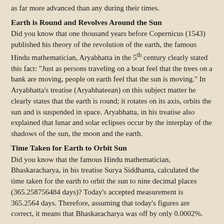as far more advanced than any during their times.
Earth is Round and Revolves Around the Sun
Did you know that one thousand years before Copernicus (1543) published his theory of the revolution of the earth, the famous Hindu mathematician, Aryabhatta in the 5th century clearly stated this fact: "Just as persons traveling on a boat feel that the trees on a bank are moving, people on earth feel that the sun is moving." In Aryabhatta's treatise (Aryabhateean) on this subject matter he clearly states that the earth is round; it rotates on its axis, orbits the sun and is suspended in space. Aryabhatta, in his treatise also explained that lunar and solar eclipses occur by the interplay of the shadows of the sun, the moon and the earth.
Time Taken for Earth to Orbit Sun
Did you know that the famous Hindu mathematician, Bhaskaracharya, in his treatise Surya Siddhanta, calculated the time taken for the earth to orbit the sun to nine decimal places (365.258756484 days)? Today's accepted measurement is 365.2564 days. Therefore, assuming that today's figures are correct, it means that Bhaskaracharya was off by only 0.0002%.
Medicine and Surgery
Did you know that the Atharva Veda contains sections devoted to the science of medicine? The Atharva Veda gave birth to Ayur Veda, the